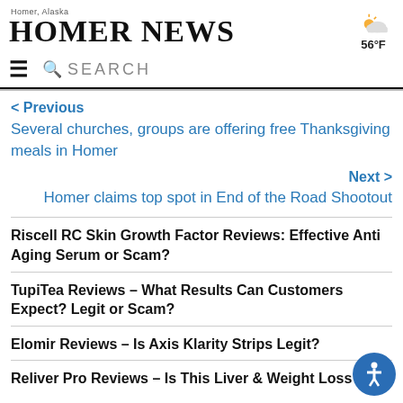Homer News — Homer, Alaska
56°F
SEARCH
< Previous
Several churches, groups are offering free Thanksgiving meals in Homer
Next >
Homer claims top spot in End of the Road Shootout
Riscell RC Skin Growth Factor Reviews: Effective Anti Aging Serum or Scam?
TupiTea Reviews – What Results Can Customers Expect? Legit or Scam?
Elomir Reviews – Is Axis Klarity Strips Legit?
Reliver Pro Reviews – Is This Liver & Weight Loss